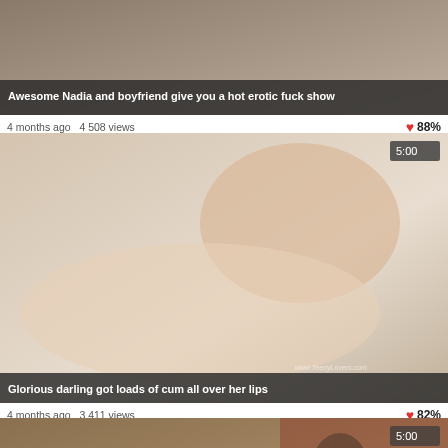[Figure (screenshot): Video thumbnail showing couple in intimate scene, top portion of page]
Awesome Nadia and boyfriend give you a hot erotic fuck show
4 months ago  4 508 views  88%
[Figure (screenshot): Video thumbnail close-up intimate scene, duration 5:00, watermark www.TeenyLovers.com]
Glorious darling got loads of cum all over her lips
4 months ago  3 411 views  82%
[Figure (screenshot): Video thumbnail showing two people on a bed in a room, duration 5:00]